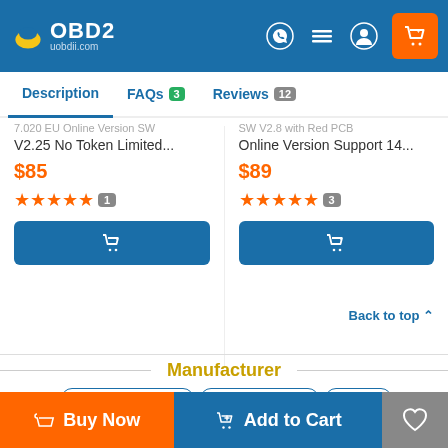[Figure (screenshot): OBD2 uobdii.com website header with logo, navigation icons, and orange cart button]
Description | FAQs 3 | Reviews 12
7.020 EU Online Version SW V2.25 No Token Limited... $85 ★★★★★ 1
SW V2.8 with Red PCB Online Version Support 14... $89 ★★★★★ 3
Tags: KTAG Master Tuning | 2017 KESS KTAG | Kess V2 | Hottest ECU Programmer
Back to top ▲
Manufacturer
Buy Now | Add to Cart | ♡